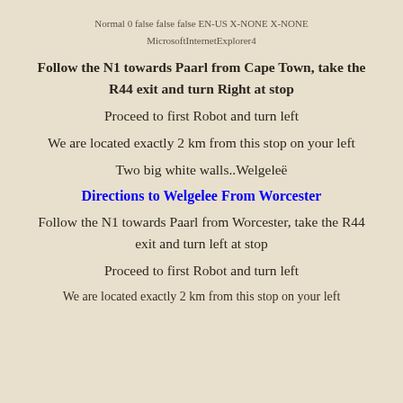Normal 0 false false false EN-US X-NONE X-NONE MicrosoftInternetExplorer4
Follow the N1 towards Paarl from Cape Town, take the R44 exit and turn Right at stop
Proceed to first Robot and turn left
We are located exactly 2 km from this stop on your left
Two big white walls..Welgeleë
Directions to Welgelee From Worcester
Follow the N1 towards Paarl from Worcester, take the R44 exit and turn left at stop
Proceed to first Robot and turn left
We are located exactly 2 km from this stop on your left